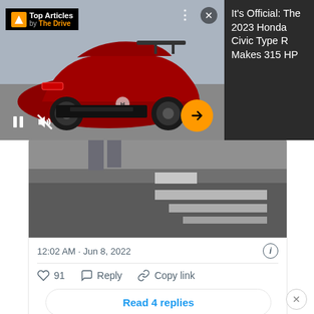[Figure (screenshot): Advertisement overlay showing a dark red Honda Civic Type R from rear angle with 'Top Articles by The Drive' badge, video controls (pause, mute), orange arrow navigation button, and close/more buttons]
It's Official: The 2023 Honda Civic Type R Makes 315 HP
[Figure (photo): A tweet embedded card showing a close-up photo of a racetrack surface (asphalt with white crosswalk/pit lane markings) with a person's legs/feet partially visible at top]
12:02 AM · Jun 8, 2022
91  Reply  Copy link
Read 4 replies